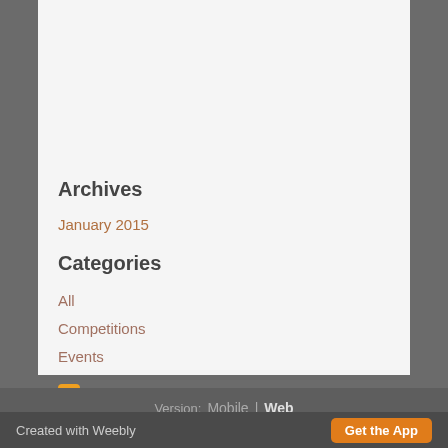Archives
January 2015
Categories
All
Competitions
Events
RSS Feed
Version: Mobile | Web
Created with Weebly  Get the App